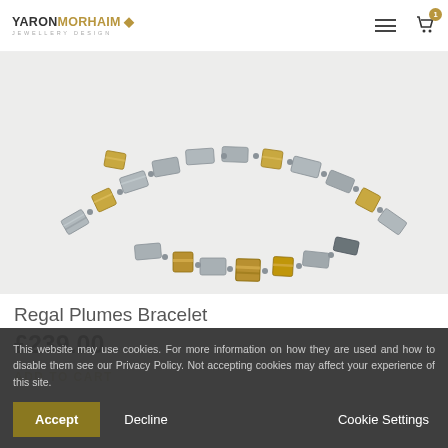YARON MORHAIM JEWELLERY DESIGN
[Figure (photo): Close-up photo of a Regal Plumes Bracelet featuring alternating silver and gold cube/rectangular links on a white background]
Regal Plumes Bracelet
£239.00
ADD TO CART
This website may use cookies. For more information on how they are used and how to disable them see our Privacy Policy. Not accepting cookies may affect your experience of this site.
Accept   Decline   Cookie Settings